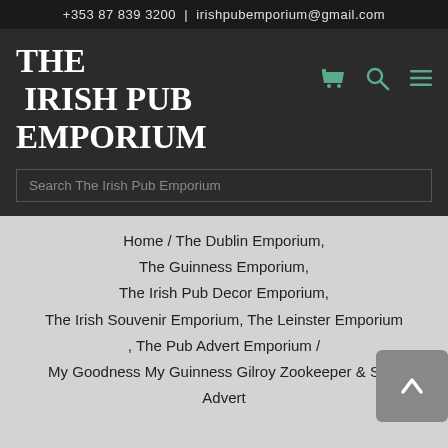+353 87 839 3200  |  irishpubemporium@gmail.com
THE IRISH PUB EMPORIUM
Search The Irish Pub Emporium
Home / The Dublin Emporium, The Guinness Emporium, The Irish Pub Decor Emporium, The Irish Souvenir Emporium, The Leinster Emporium , The Pub Advert Emporium / My Goodness My Guinness Gilroy Zookeeper & Seal Advert